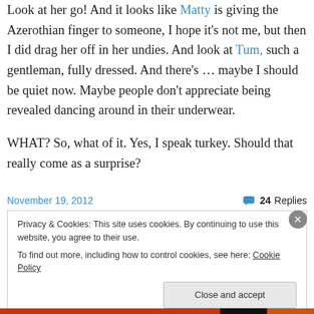Look at her go! And it looks like Matty is giving the Azerothian finger to someone, I hope it's not me, but then I did drag her off in her undies. And look at Tum, such a gentleman, fully dressed. And there's … maybe I should be quiet now. Maybe people don't appreciate being revealed dancing around in their underwear.
WHAT? So, what of it. Yes, I speak turkey. Should that really come as a surprise?
November 19, 2012
24 Replies
Privacy & Cookies: This site uses cookies. By continuing to use this website, you agree to their use. To find out more, including how to control cookies, see here: Cookie Policy
Close and accept